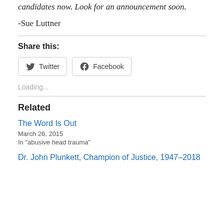candidates now. Look for an announcement soon.
-Sue Luttner
Share this:
Twitter  Facebook
Loading...
Related
The Word Is Out
March 26, 2015
In "abusive head trauma"
Dr. John Plunkett, Champion of Justice, 1947–2018